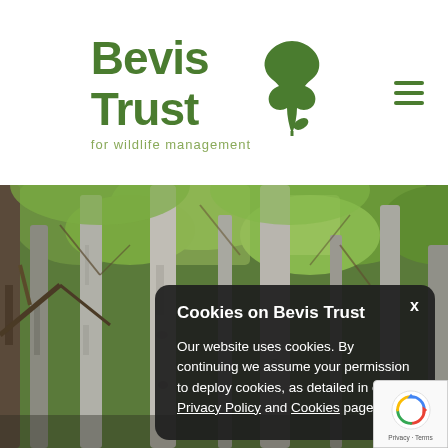[Figure (logo): Bevis Trust logo with green oak leaf icon and text 'Bevis Trust for wildlife management']
[Figure (photo): Forest scene with tall bare tree trunks and green leafy background]
Cookies on Bevis Trust
Our website uses cookies. By continuing we assume your permission to deploy cookies, as detailed in our Privacy Policy and Cookies pages.
[Figure (logo): Google reCAPTCHA badge with spinning arrows icon and Privacy - Terms text]